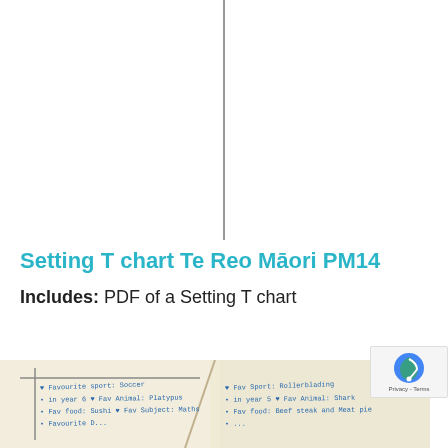[Figure (other): Vertical T-chart dividing line extending from top of page approximately halfway down]
Setting T chart Te Reo Māori PM14
Includes: PDF of a Setting T chart
Focus: Generating ideas for a description
[Figure (photo): Photograph of a handwritten T-chart notebook page showing student notes about favourite sports, foods, animals, and subjects in two columns]